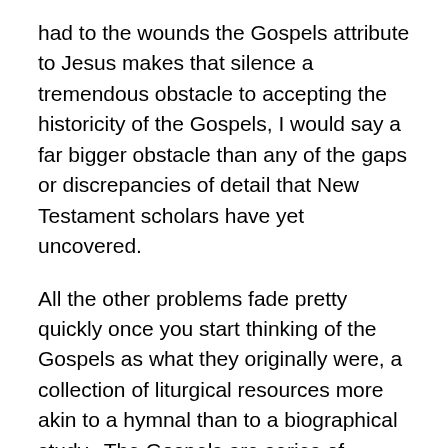had to the wounds the Gospels attribute to Jesus makes that silence a tremendous obstacle to accepting the historicity of the Gospels, I would say a far bigger obstacle than any of the gaps or discrepancies of detail that New Testament scholars have yet uncovered.
All the other problems fade pretty quickly once you start thinking of the Gospels as what they originally were, a collection of liturgical resources more akin to a hymnal than to a biographical study.  The Gospels are series of pericopes, distinct passages designed to be read aloud or recited at particular moments in worship services.  No doubt these pericopes took shape gradually in the worship services Christians conducted in the decades between Jesus' death and the production of the first written versions of the Gospels.  It is hardly surprising that the Gospels diverge in various details and leave out many